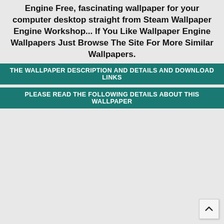Engine Free, fascinating wallpaper for your computer desktop straight from Steam Wallpaper Engine Workshop... If You Like Wallpaper Engine Wallpapers Just Browse The Site For More Similar Wallpapers.
THE WALLPAPER DESCRIPTION AND DETAILS AND DOWNLOAD LINKS
PLEASE READ THE FOLLOWING DETAILS ABOUT THIS WALLPAPER